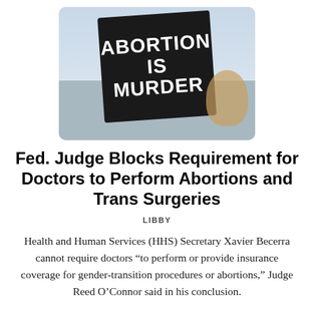[Figure (photo): A protest sign reading 'ABORTION IS MURDER' held up against a light sky background, with a person visible in the lower right.]
Fed. Judge Blocks Requirement for Doctors to Perform Abortions and Trans Surgeries
LIBBY
Health and Human Services (HHS) Secretary Xavier Becerra cannot require doctors “to perform or provide insurance coverage for gender-transition procedures or abortions,” Judge Reed O’Connor said in his conclusion.